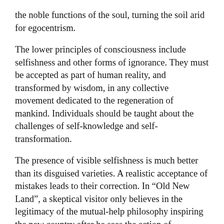the noble functions of the soul, turning the soil arid for egocentrism.
The lower principles of consciousness include selfishness and other forms of ignorance. They must be accepted as part of human reality, and transformed by wisdom, in any collective movement dedicated to the regeneration of mankind. Individuals should be taught about the challenges of self-knowledge and self-transformation.
The presence of visible selfishness is much better than its disguised varieties. A realistic acceptance of mistakes leads to their correction. In “Old New Land”, a skeptical visitor only believes in the legitimacy of the mutual-help philosophy inspiring the new country after he sees the action of unfortunate boycotters inside the community.
As an angry citizen showed him that someone was cowardly sabotaging the community’s ideals and asked